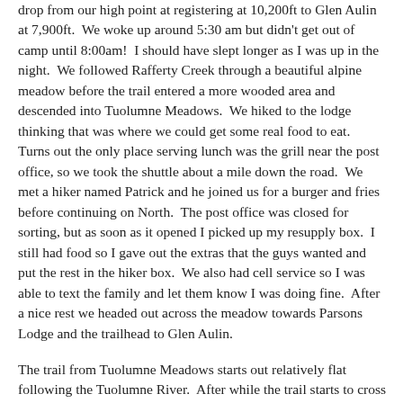drop from our high point at registering at 10,200ft to Glen Aulin at 7,900ft. We woke up around 5:30 am but didn't get out of camp until 8:00am! I should have slept longer as I was up in the night. We followed Rafferty Creek through a beautiful alpine meadow before the trail entered a more wooded area and descended into Tuolumne Meadows. We hiked to the lodge thinking that was where we could get some real food to eat. Turns out the only place serving lunch was the grill near the post office, so we took the shuttle about a mile down the road. We met a hiker named Patrick and he joined us for a burger and fries before continuing on North. The post office was closed for sorting, but as soon as it opened I picked up my resupply box. I still had food so I gave out the extras that the guys wanted and put the rest in the hiker box. We also had cell service so I was able to text the family and let them know I was doing fine. After a nice rest we headed out across the meadow towards Parsons Lodge and the trailhead to Glen Aulin.
The trail from Tuolumne Meadows starts out relatively flat following the Tuolumne River. After while the trail starts to cross slick rock marked with cairns. The the river and trail begin a dramatic drop! We arrived in camp before dark and